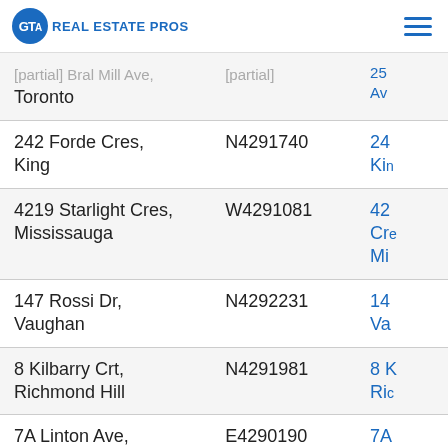GTA REAL ESTATE PROS
| Address | MLS# | Link |
| --- | --- | --- |
| [partial] Bral Mill Ave, Toronto | [partial] | [partial] Av |
| 242 Forde Cres, King | N4291740 | 24 Ki |
| 4219 Starlight Cres, Mississauga | W4291081 | 42 Cre Mi |
| 147 Rossi Dr, Vaughan | N4292231 | 14 Va |
| 8 Kilbarry Crt, Richmond Hill | N4291981 | 8 K Ric |
| 7A Linton Ave, Toronto | E4290190 | 7A |